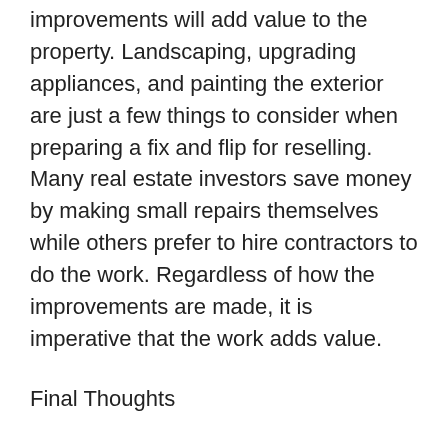improvements will add value to the property. Landscaping, upgrading appliances, and painting the exterior are just a few things to consider when preparing a fix and flip for reselling. Many real estate investors save money by making small repairs themselves while others prefer to hire contractors to do the work. Regardless of how the improvements are made, it is imperative that the work adds value.
Final Thoughts
Flipping houses does not come without risks. However, when informed decisions are made, the return on investment can be rewarding. Always perform due diligence and consult financial and legal professionals for sound advice.